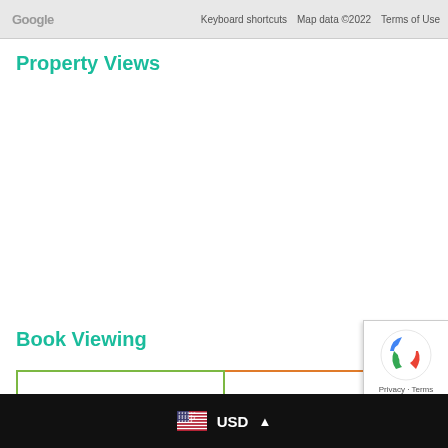[Figure (screenshot): Google Maps footer bar with Google logo, Keyboard shortcuts, Map data ©2022, Terms of Use]
Property Views
Book Viewing
[Figure (screenshot): Two action buttons: CALL NOW (green border) and BOOK ONLINE (orange border) with external link icon]
[Figure (screenshot): reCAPTCHA badge with Privacy and Terms links]
USD ▲ (US flag icon)